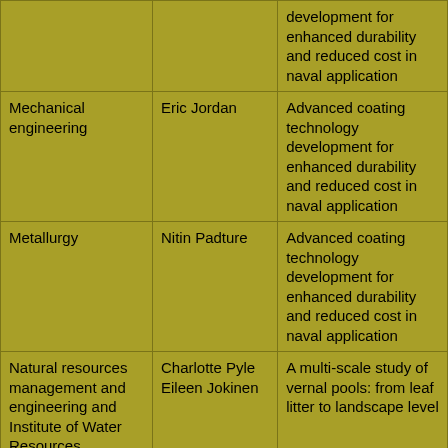| Field | Researcher | Project |
| --- | --- | --- |
|  |  | development for enhanced durability and reduced cost in naval application |
| Mechanical engineering | Eric Jordan | Advanced coating technology development for enhanced durability and reduced cost in naval application |
| Metallurgy | Nitin Padture | Advanced coating technology development for enhanced durability and reduced cost in naval application |
| Natural resources management and engineering and Institute of Water Resources | Charlotte Pyle Eileen Jokinen | A multi-scale study of vernal pools: from leaf litter to landscape level |
| Nutritional sciences | Ann Ferris | Nutrition of elderly |